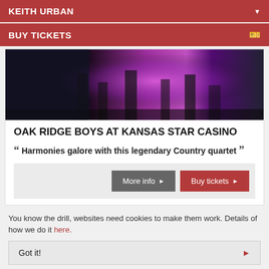KEITH URBAN
BUY TICKETS
[Figure (photo): Concert stage photo with purple and pink lighting, performers on stage]
OAK RIDGE BOYS AT KANSAS STAR CASINO
Harmonies galore with this legendary Country quartet
More info  Buy tickets
You know the drill, websites need cookies to make them work. Details of how we do it here.
Got it!